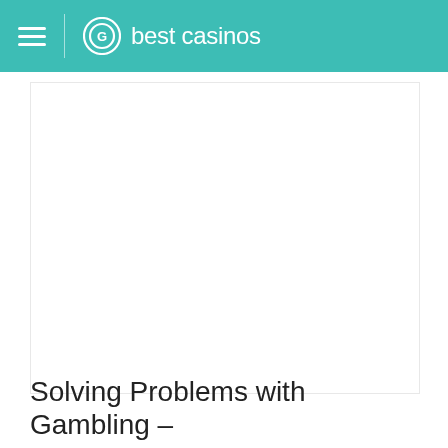best casinos
[Figure (other): White content area / article image placeholder]
Solving Problems with Gambling –